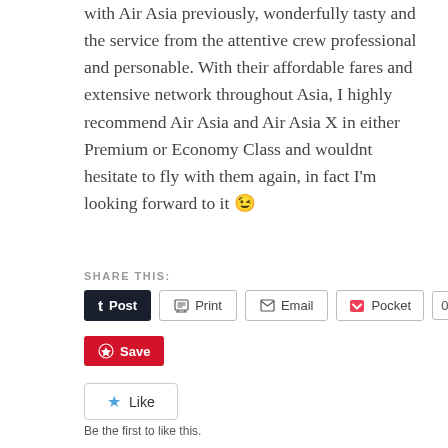with Air Asia previously, wonderfully tasty and the service from the attentive crew professional and personable. With their affordable fares and extensive network throughout Asia, I highly recommend Air Asia and Air Asia X in either Premium or Economy Class and wouldnt hesitate to fly with them again, in fact I'm looking forward to it 😉
SHARE THIS:
Post | Print | Email | Pocket 0 | Save | Like — Be the first to like this.